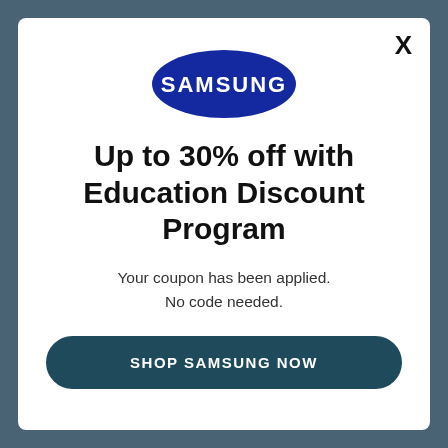[Figure (logo): Samsung blue oval logo with white SAMSUNG text]
Up to 30% off with Education Discount Program
Your coupon has been applied. No code needed.
SHOP SAMSUNG NOW